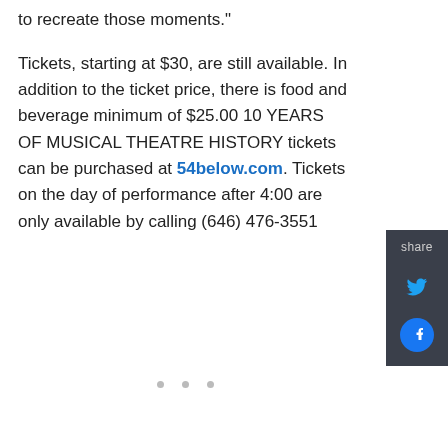to recreate those moments."
Tickets, starting at $30, are still available. In addition to the ticket price, there is food and beverage minimum of $25.00 10 YEARS OF MUSICAL THEATRE HISTORY tickets can be purchased at 54below.com. Tickets on the day of performance after 4:00 are only available by calling (646) 476-3551